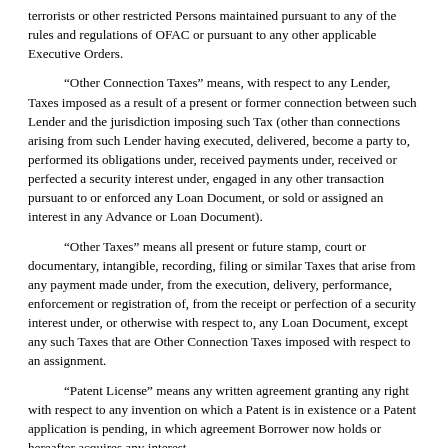terrorists or other restricted Persons maintained pursuant to any of the rules and regulations of OFAC or pursuant to any other applicable Executive Orders.
“Other Connection Taxes” means, with respect to any Lender, Taxes imposed as a result of a present or former connection between such Lender and the jurisdiction imposing such Tax (other than connections arising from such Lender having executed, delivered, become a party to, performed its obligations under, received payments under, received or perfected a security interest under, engaged in any other transaction pursuant to or enforced any Loan Document, or sold or assigned an interest in any Advance or Loan Document).
“Other Taxes” means all present or future stamp, court or documentary, intangible, recording, filing or similar Taxes that arise from any payment made under, from the execution, delivery, performance, enforcement or registration of, from the receipt or perfection of a security interest under, or otherwise with respect to, any Loan Document, except any such Taxes that are Other Connection Taxes imposed with respect to an assignment.
“Patent License” means any written agreement granting any right with respect to any invention on which a Patent is in existence or a Patent application is pending, in which agreement Borrower now holds or hereafter acquires any interest.
“Patents” means all letters patent of, or rights corresponding thereto, in the United States of America or in any other country, all registrations and recordings thereof, and all applications for letters patent of, or rights corresponding thereto, in the United States of America or any other country.